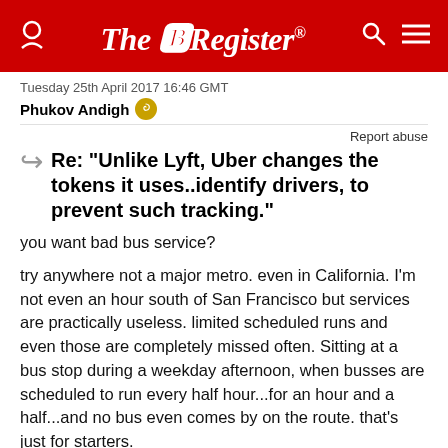The Register
Tuesday 25th April 2017 16:46 GMT
Phukov Andigh
Report abuse
Re: "Unlike Lyft, Uber changes the tokens it uses..identify drivers, to prevent such tracking."
you want bad bus service?
try anywhere not a major metro. even in California. I'm not even an hour south of San Francisco but services are practically useless. limited scheduled runs and even those are completely missed often. Sitting at a bus stop during a weekday afternoon, when busses are scheduled to run every half hour...for an hour and a half...and no bus even comes by on the route. that's just for starters.
No excuses for such, considering the budget and